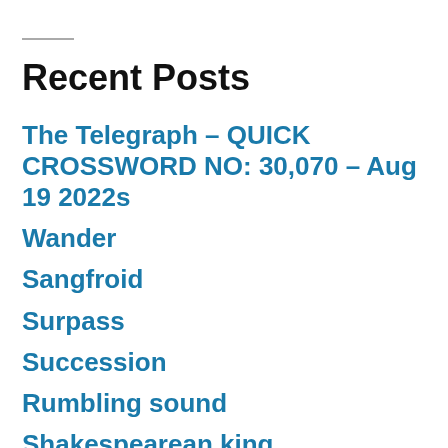Recent Posts
The Telegraph – QUICK CROSSWORD NO: 30,070 – Aug 19 2022s
Wander
Sangfroid
Surpass
Succession
Rumbling sound
Shakespearean king